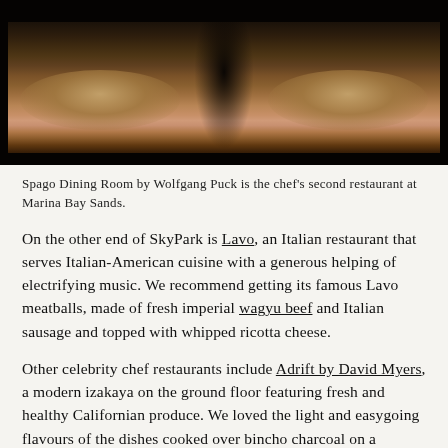[Figure (photo): Dark restaurant dining room photo showing white-tablecloth tables with glassware, a figure walking in the center background, warm ambient lighting]
Spago Dining Room by Wolfgang Puck is the chef's second restaurant at Marina Bay Sands.
On the other end of SkyPark is Lavo, an Italian restaurant that serves Italian-American cuisine with a generous helping of electrifying music. We recommend getting its famous Lavo meatballs, made of fresh imperial wagyu beef and Italian sausage and topped with whipped ricotta cheese.
Other celebrity chef restaurants include Adrift by David Myers, a modern izakaya on the ground floor featuring fresh and healthy Californian produce. We loved the light and easygoing flavours of the dishes cooked over bincho charcoal on a traditional robata grill. Adrift by David Myers also features an extensive alcohol menu, including signature cocktails created by New York bar consultant Sam Ross.